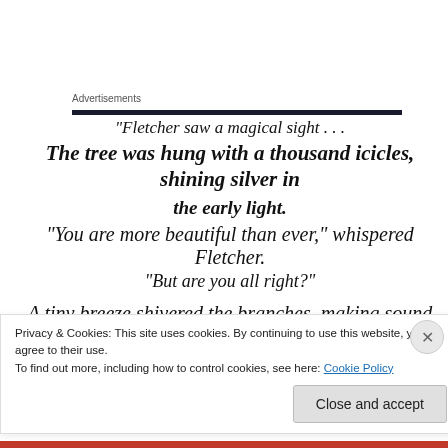Advertisements
“Fletcher saw a magical sight . . .
The tree was hung with a thousand icicles, shining silver in the early light.
“You are more beautiful than ever,” whispered Fletcher.
“But are you all right?”

A tiny breeze shivered the branches, making sound like
Privacy & Cookies: This site uses cookies. By continuing to use this website, you agree to their use.
To find out more, including how to control cookies, see here: Cookie Policy
Close and accept